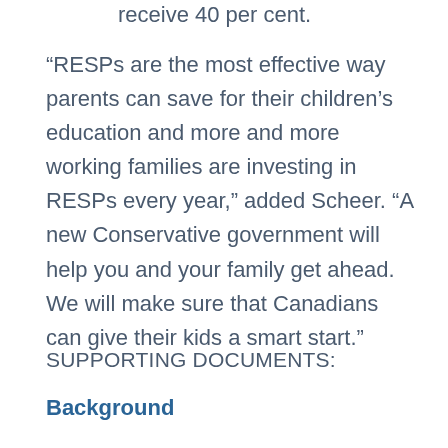receive 40 per cent.
“RESPs are the most effective way parents can save for their children’s education and more and more working families are investing in RESPs every year,” added Scheer. “A new Conservative government will help you and your family get ahead. We will make sure that Canadians can give their kids a smart start.”
SUPPORTING DOCUMENTS:
Background